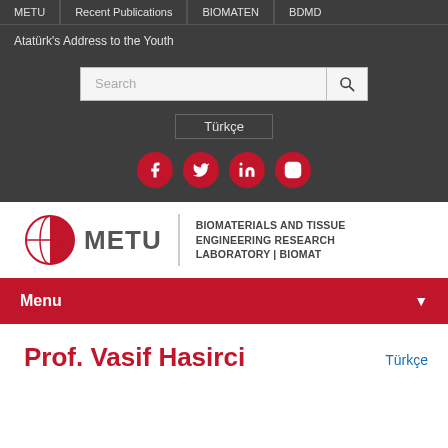METU | Recent Publications | BIOMATEN | BDMD
Atatürk's Address to the Youth
[Figure (screenshot): Search bar input field with search button icon]
Türkçe
[Figure (infographic): Social media icons: Facebook, Twitter, LinkedIn, Instagram — red circular buttons]
[Figure (logo): METU logo with red half-globe icon and METU text, divider, then BIOMATERIALS AND TISSUE ENGINEERING RESEARCH LABORATORY | BIOMAT]
Menu
Prof. Vasif Hasirci
Türkçe